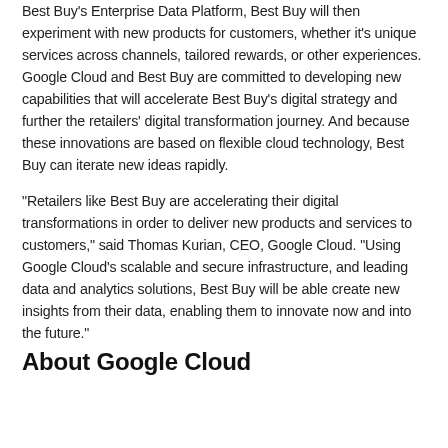Best Buy's Enterprise Data Platform, Best Buy will then experiment with new products for customers, whether it's unique services across channels, tailored rewards, or other experiences. Google Cloud and Best Buy are committed to developing new capabilities that will accelerate Best Buy's digital strategy and further the retailers' digital transformation journey. And because these innovations are based on flexible cloud technology, Best Buy can iterate new ideas rapidly.
“Retailers like Best Buy are accelerating their digital transformations in order to deliver new products and services to customers,” said Thomas Kurian, CEO, Google Cloud. “Using Google Cloud’s scalable and secure infrastructure, and leading data and analytics solutions, Best Buy will be able create new insights from their data, enabling them to innovate now and into the future.”
About Google Cloud